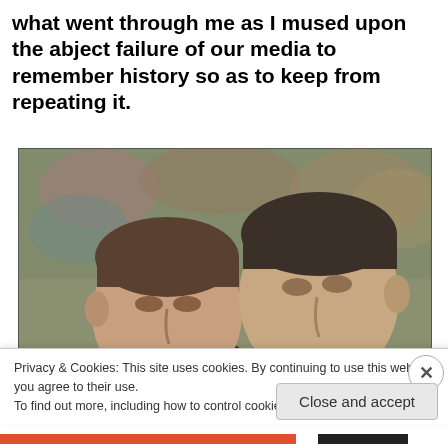what went through me as I mused upon the abject failure of our media to remember history so as to keep from repeating it.
[Figure (photo): Two men in suits photographed in profile against a blurred crowd background. Close-up portrait-style photo showing their faces and upper bodies.]
Privacy & Cookies: This site uses cookies. By continuing to use this website, you agree to their use.
To find out more, including how to control cookies, see here: Cookie Policy